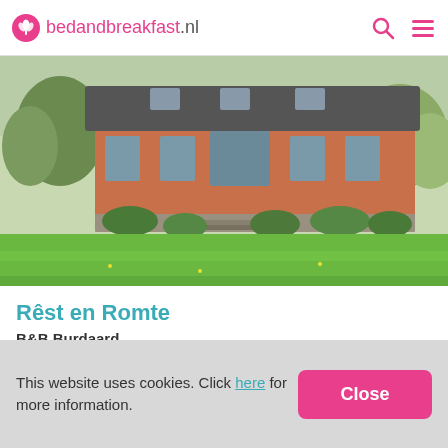bedandbreakfast.nl
[Figure (photo): Exterior photo of a red-brick farmhouse B&B with a large green lawn in the foreground, hedges, trees, and a tiled roof with skylights. Springtime setting.]
Rêst en Romte
B&B Burdaard
(2.8 km from Jannum)
9.7 / 10  (21 reviews)
This website uses cookies. Click here for more information.